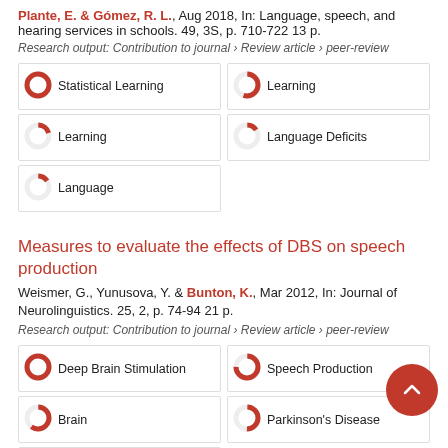Plante, E. & Gómez, R. L., Aug 2018, In: Language, speech, and hearing services in schools. 49, 3S, p. 710-722 13 p.
Research output: Contribution to journal › Review article › peer-review
[Figure (infographic): Keyword badges with donut chart icons: Statistical Learning 100%, Learning 55%, Learning 20%, Language Deficits 15%, Language 15%]
Measures to evaluate the effects of DBS on speech production
Weismer, G., Yunusova, Y. & Bunton, K., Mar 2012, In: Journal of Neurolinguistics. 25, 2, p. 74-94 21 p.
Research output: Contribution to journal › Review article › peer-review
[Figure (infographic): Keyword badges with donut chart icons: Deep Brain Stimulation 100%, Speech Production 75%, Brain 60%, Parkinson's Disease 50%, Speech Intelligibility 50%]